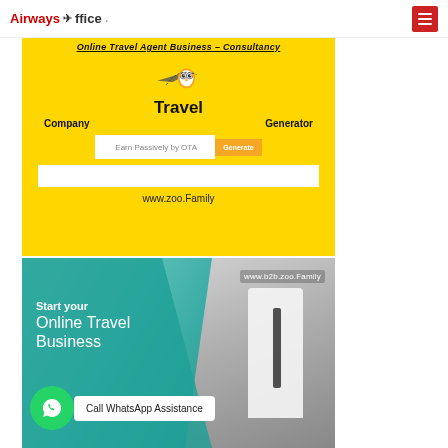Airways Office
[Figure (screenshot): Yellow banner ad for Travel Company Generator website. Shows mascot owl with airplane, text 'Travel Company Generator', search bar with 'Earn Passively by OTA' placeholder and Generate button, white box, and url www.zoo.Family. Top has title 'Online Travel Agent Business – Consultancy'.]
[Figure (screenshot): Teal/photo banner ad. Shows businessman looking at phone on right, teal overlay on left with text 'Start your Online Travel Business'. WhatsApp icon and 'Call WhatsApp Assistance' button. URL www.b2b.zoo.Family shown top right.]